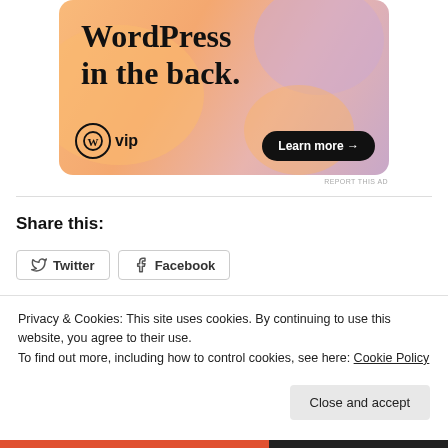[Figure (illustration): WordPress VIP advertisement banner with colorful gradient background (orange, peach, mauve). Large text reads 'WordPress in the back.' with WordPress VIP logo bottom left and 'Learn more →' button bottom right.]
REPORT THIS AD
Share this:
Twitter   Facebook
Privacy & Cookies: This site uses cookies. By continuing to use this website, you agree to their use.
To find out more, including how to control cookies, see here: Cookie Policy
Close and accept